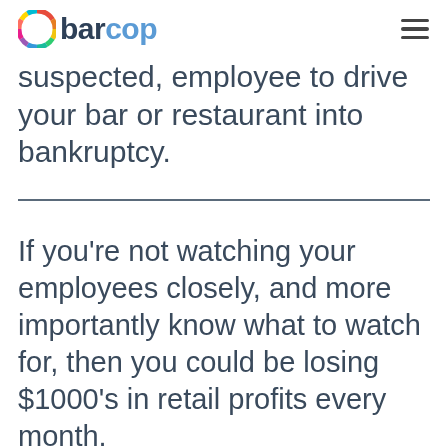barcop
suspected, employee to drive your bar or restaurant into bankruptcy.
If you're not watching your employees closely, and more importantly know what to watch for, then you could be losing $1000's in retail profits every month.